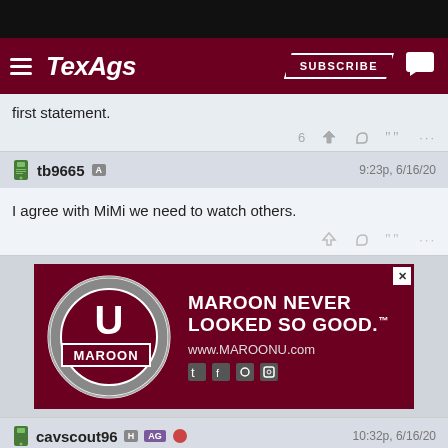[Figure (screenshot): TexAgs website navigation bar with hamburger menu, TexAgs logo, SUBSCRIBE button, and chat icon on dark maroon background]
first statement.
6 ★ ↩ ❝ ...
tb9665 A  9:23p, 6/16/20
I agree with MiMi we need to watch others.
★ ↩ ❝ ...
[Figure (illustration): Maroon U advertisement: circular logo with U and MAROON text, headline MAROON NEVER LOOKED SO GOOD., www.MAROONU.com, social media icons]
cavscout96 H AG 🔴  10:32p, 6/16/20
In reply to chiwowwow
chiwowwow said: Why do you say that MOST were asymptomatic is "good news"?